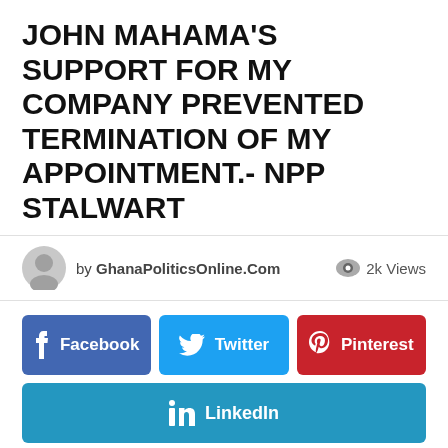JOHN MAHAMA'S SUPPORT FOR MY COMPANY PREVENTED TERMINATION OF MY APPOINTMENT.- NPP STALWART
by GhanaPoliticsOnline.Com   2k Views
[Figure (infographic): Social media share buttons: Facebook, Twitter, Pinterest (top row), LinkedIn (bottom row)]
[Figure (photo): Photo of a man in suit standing in front of AGA (Africa Governance Architecture) backdrop with green and yellow flags]